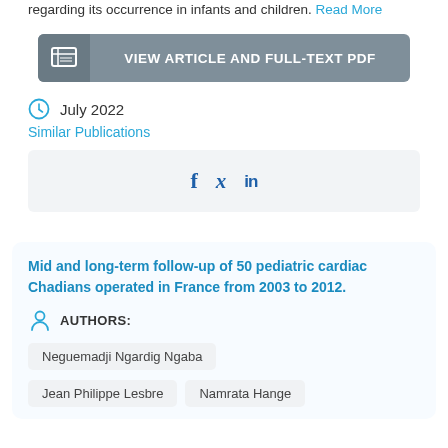regarding its occurrence in infants and children. Read More
VIEW ARTICLE AND FULL-TEXT PDF
July 2022
Similar Publications
[Figure (other): Social sharing bar with Facebook, Twitter, and LinkedIn icons]
Mid and long-term follow-up of 50 pediatric cardiac Chadians operated in France from 2003 to 2012.
AUTHORS:
Neguemadji Ngardig Ngaba
Jean Philippe Lesbre
Namrata Hange